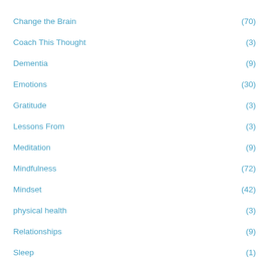Change the Brain (70)
Coach This Thought (3)
Dementia (9)
Emotions (30)
Gratitude (3)
Lessons From (3)
Meditation (9)
Mindfulness (72)
Mindset (42)
physical health (3)
Relationships (9)
Sleep (1)